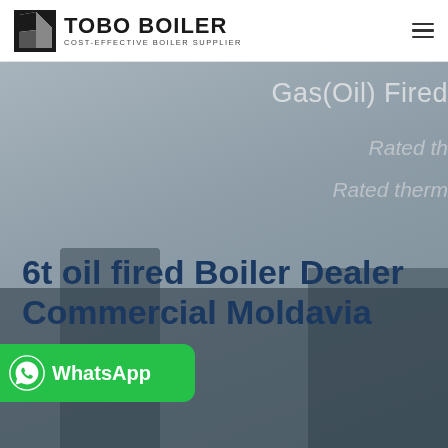TOBO BOILER — COST-EFFECTIVE BOILER SUPPLIER
[Figure (photo): Background hero image of industrial boiler equipment with gray overlay, partially visible text 'Gas(Oil) Fired', 'Rated th...', 'Rated therm...' on the right side]
6t oil fired Boiler Dealer Commercial Moldavia
[Figure (other): WhatsApp button with green background, WhatsApp logo icon, and 'WhatsApp' text label]